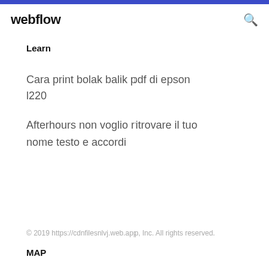webflow
Learn
Cara print bolak balik pdf di epson l220
Afterhours non voglio ritrovare il tuo nome testo e accordi
© 2019 https://cdnfilesnlvj.web.app, Inc. All rights reserved.
MAP